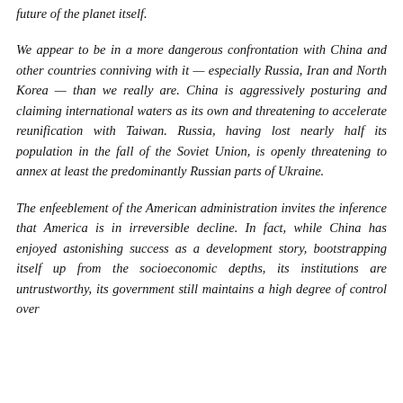future of the planet itself.
We appear to be in a more dangerous confrontation with China and other countries conniving with it — especially Russia, Iran and North Korea — than we really are. China is aggressively posturing and claiming international waters as its own and threatening to accelerate reunification with Taiwan. Russia, having lost nearly half its population in the fall of the Soviet Union, is openly threatening to annex at least the predominantly Russian parts of Ukraine.
The enfeeblement of the American administration invites the inference that America is in irreversible decline. In fact, while China has enjoyed astonishing success as a development story, bootstrapping itself up from the socioeconomic depths, its institutions are untrustworthy, its government still maintains a high degree of control over